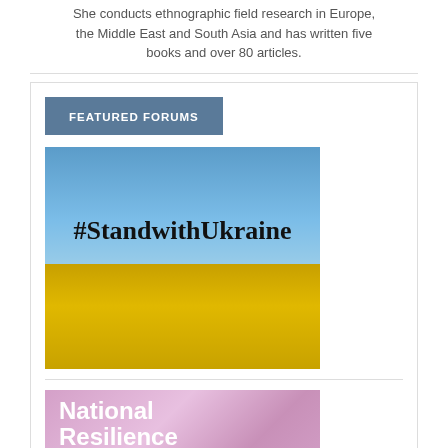She conducts ethnographic field research in Europe, the Middle East and South Asia and has written five books and over 80 articles.
FEATURED FORUMS
[Figure (illustration): Image showing Ukrainian flag colors (blue sky and yellow wheat field) with bold text '#StandwithUkraine' overlaid in the center.]
[Figure (illustration): Image showing pink floral blurred background with bold white text 'National Resilience' overlaid.]